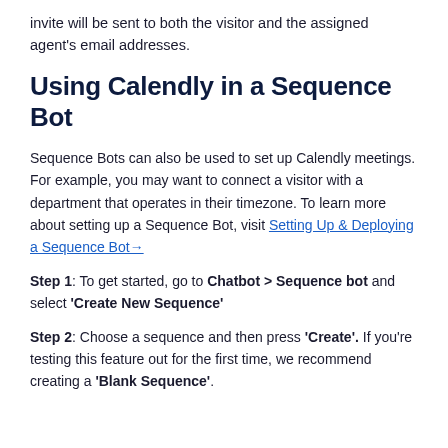invite will be sent to both the visitor and the assigned agent's email addresses.
Using Calendly in a Sequence Bot
Sequence Bots can also be used to set up Calendly meetings. For example, you may want to connect a visitor with a department that operates in their timezone. To learn more about setting up a Sequence Bot, visit Setting Up & Deploying a Sequence Bot→
Step 1: To get started, go to Chatbot > Sequence bot and select 'Create New Sequence'
Step 2: Choose a sequence and then press 'Create'. If you're testing this feature out for the first time, we recommend creating a 'Blank Sequence'.